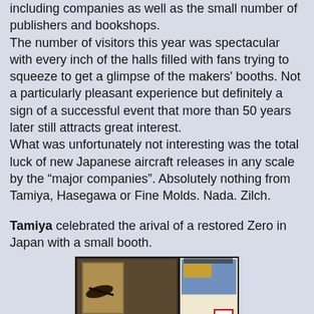including companies as well as the small number of publishers and bookshops. The number of visitors this year was spectacular with every inch of the halls filled with fans trying to squeeze to get a glimpse of the makers' booths. Not a particularly pleasant experience but definitely a sign of a successful event that more than 50 years later still attracts great interest. What was unfortunately not interesting was the total luck of new Japanese aircraft releases in any scale by the "major companies". Absolutely nothing from Tamiya, Hasegawa or Fine Molds. Nada. Zilch.
Tamiya celebrated the arival of a restored Zero in Japan with a small booth.
[Figure (photo): Photo of a Tamiya booth display showing screens with a Zero aircraft model kit artwork and a model aircraft (dark colored) in the foreground on a display stand]